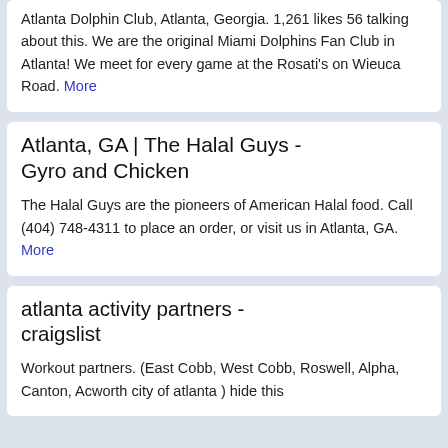Atlanta Dolphin Club, Atlanta, Georgia. 1,261 likes 56 talking about this. We are the original Miami Dolphins Fan Club in Atlanta! We meet for every game at the Rosati's on Wieuca Road. More
Atlanta, GA | The Halal Guys - Gyro and Chicken
The Halal Guys are the pioneers of American Halal food. Call (404) 748-4311 to place an order, or visit us in Atlanta, GA. More
atlanta activity partners - craigslist
Workout partners. (East Cobb, West Cobb, Roswell, Alpha, Canton, Acworth city of atlanta ) hide this